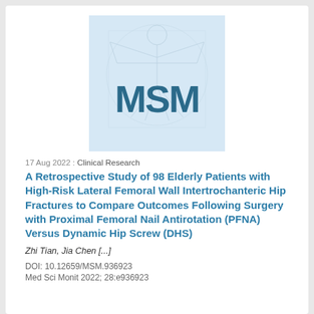[Figure (logo): Medical Science Monitor (MSM) journal logo featuring Vitruvian man sketch in background with large bold 'MSM' text in dark teal/blue color]
17 Aug 2022 : Clinical Research
A Retrospective Study of 98 Elderly Patients with High-Risk Lateral Femoral Wall Intertrochanteric Hip Fractures to Compare Outcomes Following Surgery with Proximal Femoral Nail Antirotation (PFNA) Versus Dynamic Hip Screw (DHS)
Zhi Tian, Jia Chen [...]
DOI: 10.12659/MSM.936923
Med Sci Monit 2022; 28:e936923